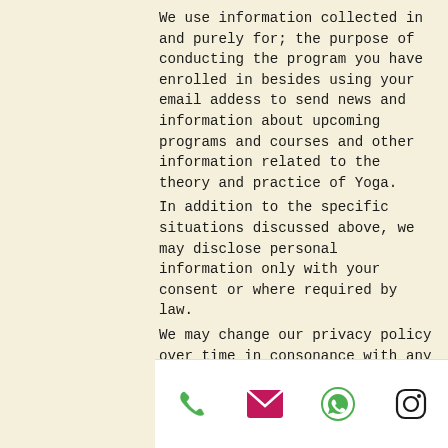We use information collected in and purely for; the purpose of conducting the program you have enrolled in besides using your email addess to send news and information about upcoming programs and courses and other information related to the theory and practice of Yoga. In addition to the specific situations discussed above, we may disclose personal information only with your consent or where required by law. We may change our privacy policy over time in consonance with any changes we may bring into our practice and website.

If you have any questions or comments concerning our privacy policy please reach out via email at yogashowstheway@yahoo.com
[Figure (infographic): Footer bar with four contact icons: phone (green), email/envelope (pink/magenta), WhatsApp (green), Instagram (black outline)]